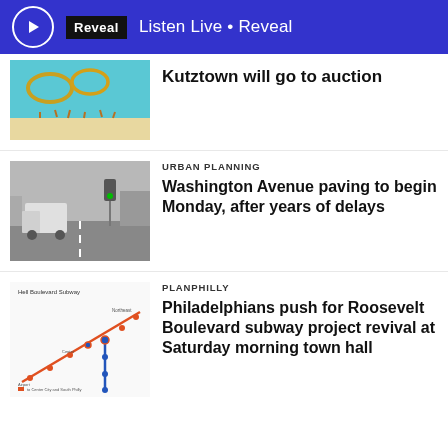Listen Live • Reveal
[Figure (photo): Partial view of colorful artwork, blue and yellow tones with abstract shapes]
Kutztown will go to auction
[Figure (photo): Street scene on Washington Avenue showing trucks and traffic in wintry grey conditions]
URBAN PLANNING
Washington Avenue paving to begin Monday, after years of delays
[Figure (map): Roosevelt Boulevard Subway map showing route lines in orange and blue with station stops]
PLANPHILLY
Philadelphians push for Roosevelt Boulevard subway project revival at Saturday morning town hall